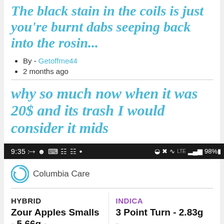The black stain in the coils is just you're burnt dabs seeping back into the rosin...
By - Getoffme44
2 months ago
why so much now when it was 20$ and its trash I would consider it mids
[Figure (screenshot): Mobile phone status bar showing time 9:35, various icons, 98% battery]
[Figure (logo): Columbia Care logo with circular arrow icon]
| HYBRID | INDICA |
| --- | --- |
| Zour Apples Smalls - 5.66g - | 3 Point Turn - 2.83g - |